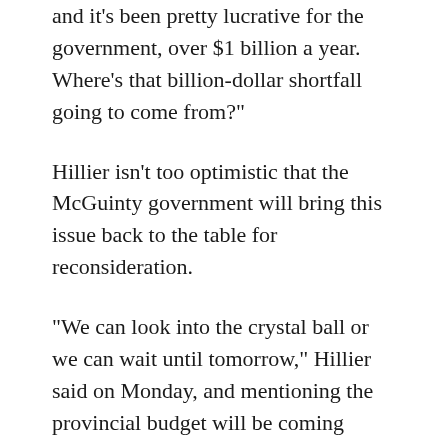and it's been pretty lucrative for the government, over $1 billion a year. Where's that billion-dollar shortfall going to come from?"
Hillier isn't too optimistic that the McGuinty government will bring this issue back to the table for reconsideration.
"We can look into the crystal ball or we can wait until tomorrow," Hillier said on Monday, and mentioning the provincial budget will be coming down on Tuesday. "I think they may offer some crumbs to a few tracks in tomorrow's budget but judging by the type of language they use, when you're promoting nothing but an